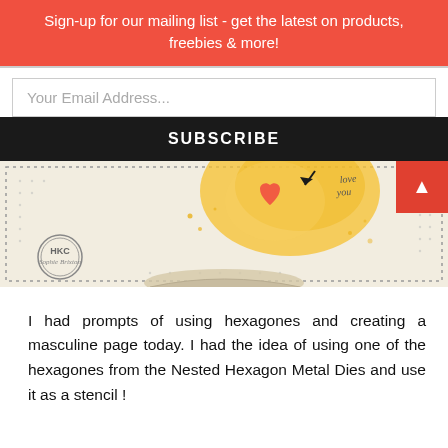Sign-up for our mailing list - get the latest on products, freebies & more!
Your Email Address...
SUBSCRIBE
[Figure (photo): Scrapbook/craft layout page showing a decorative paper with dotted border, a yellow/golden watercolor splash, heart and arrow motifs, handwritten 'love you' text, and an HKC Sophie Brixton stamp in the lower left with a page curl at the bottom center.]
I had prompts of using hexagones and creating a masculine page today. I had the idea of using one of the hexagones from the Nested Hexagon Metal Dies and use it as a stencil !